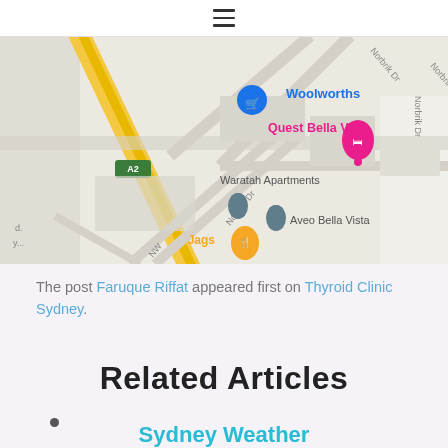≡
[Figure (map): Google Maps screenshot showing Woolworths, Quest Bella Vista, Waratah Apartments, Aveo Bella Vista, and Jags locations near Norbrik Dr, with A2 road visible on the left.]
The post Faruque Riffat appeared first on Thyroid Clinic Sydney.
Related Articles
Sydney Weather